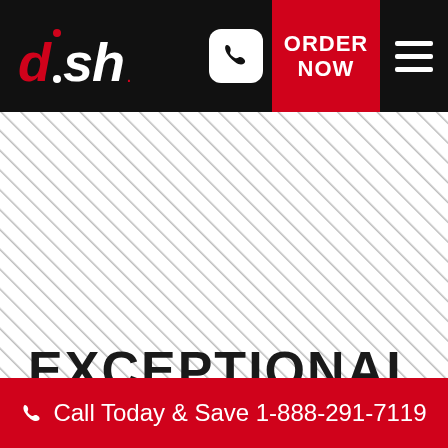DISH — ORDER NOW | Call Today & Save 1-888-291-7119
[Figure (screenshot): DISH Network website screenshot showing diagonal stripe hero image with EXCEPTIONAL text and navigation header with ORDER NOW button and call bar]
EXCEPTIONAL
Call Today & Save 1-888-291-7119